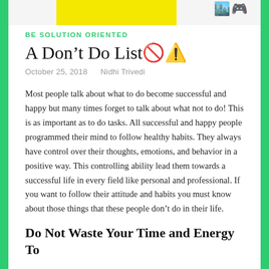[Figure (other): Top banner with yellow strip and decorative emoji/icon graphics on the right side]
BE SOLUTION ORIENTED
A Don't Do List🚫⚠️
October 25, 2018   Nidhi Trivedi
Most people talk about what to do become successful and happy but many times forget to talk about what not to do! This is as important as to do tasks. All successful and happy people programmed their mind to follow healthy habits. They always have control over their thoughts, emotions, and behavior in a positive way. This controlling ability lead them towards a successful life in every field like personal and professional. If you want to follow their attitude and habits you must know about those things that these people don't do in their life.
Do Not Waste Your Time and Energy To